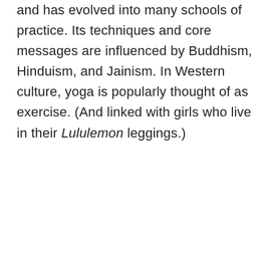and has evolved into many schools of practice. Its techniques and core messages are influenced by Buddhism, Hinduism, and Jainism. In Western culture, yoga is popularly thought of as exercise. (And linked with girls who live in their Lululemon leggings.)